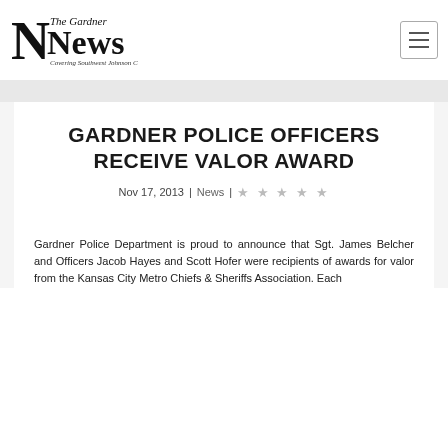[Figure (logo): The Gardner News logo - 'The Gardner News, Covering Southwest Johnson County']
GARDNER POLICE OFFICERS RECEIVE VALOR AWARD
Nov 17, 2013 | News |
Gardner Police Department is proud to announce that Sgt. James Belcher and Officers Jacob Hayes and Scott Hofer were recipients of awards for valor from the Kansas City Metro Chiefs & Sheriff's Association. Each